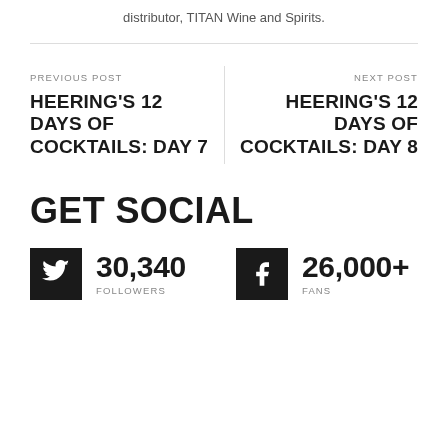distributor, TITAN Wine and Spirits.
PREVIOUS POST
HEERING'S 12 DAYS OF COCKTAILS: DAY 7
NEXT POST
HEERING'S 12 DAYS OF COCKTAILS: DAY 8
GET SOCIAL
30,340 FOLLOWERS
26,000+ FANS